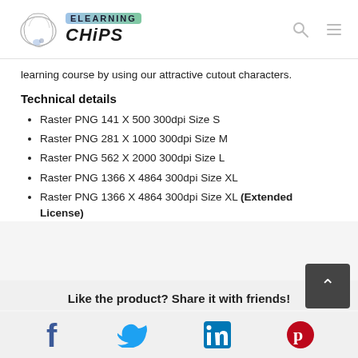eLearning CHiPS
learning course by using our attractive cutout characters.
Technical details
Raster PNG 141 X 500 300dpi Size S
Raster PNG 281 X 1000 300dpi Size M
Raster PNG 562 X 2000 300dpi Size L
Raster PNG 1366 X 4864 300dpi Size XL
Raster PNG 1366 X 4864 300dpi Size XL (Extended License)
Like the product? Share it with friends!